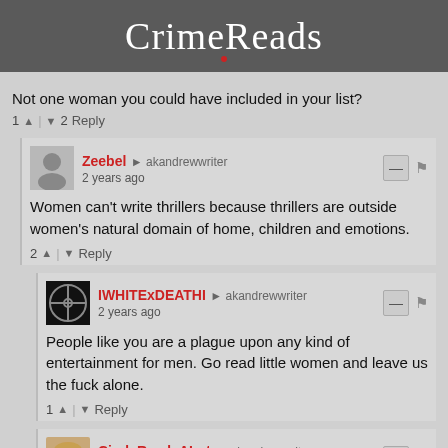CrimeReads
Not one woman you could have included in your list?
1 ▲ | ▼ 2   Reply
Zeebel → akandrewwriter
2 years ago
Women can't write thrillers because thrillers are outside women's natural domain of home, children and emotions.
2 ▲ | ▼   Reply
IWHITExDEATHI → akandrewwriter
2 years ago
People like you are a plague upon any kind of entertainment for men. Go read little women and leave us the fuck alone.
1 ▲ | ▼   Reply
CindyReadsALot → akandrewwriter
a year ago
Can you recommend any women who write as well as any of these guys? I suspect it would be hard to find a